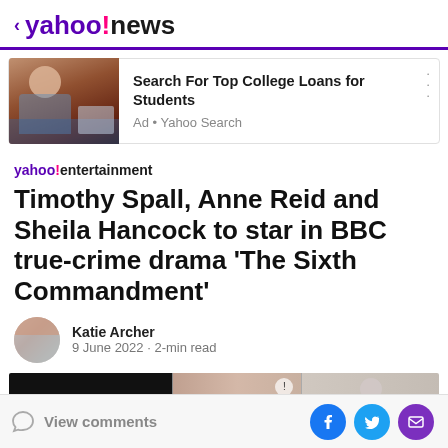< yahoo!news
[Figure (screenshot): Advertisement banner: woman on phone at laptop, text 'Search For Top College Loans for Students', Ad • Yahoo Search]
yahoo!entertainment
Timothy Spall, Anne Reid and Sheila Hancock to star in BBC true-crime drama 'The Sixth Commandment'
Katie Archer
9 June 2022 · 2-min read
[Figure (photo): Article images strip showing three photos partially visible]
View comments